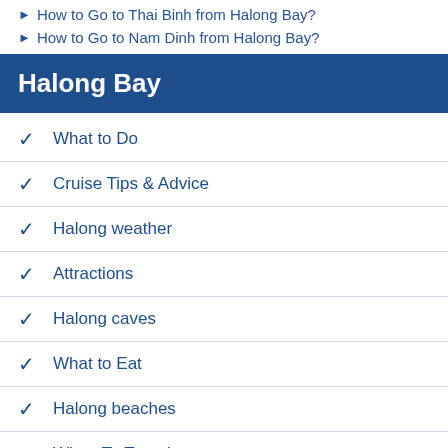How to Go to Thai Binh from Halong Bay?
How to Go to Nam Dinh from Halong Bay?
Halong Bay
What to Do
Cruise Tips & Advice
Halong weather
Attractions
Halong caves
What to Eat
Halong beaches
When To Travel